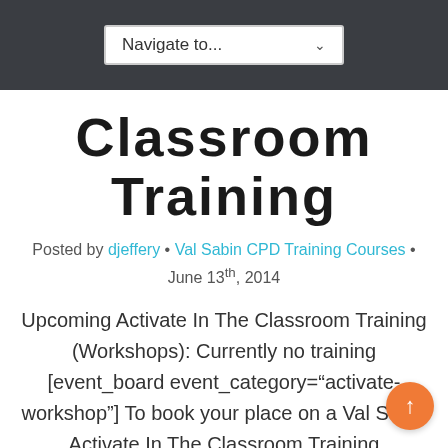Navigate to...
Classroom Training
Posted by djeffery • Val Sabin CPD Training Courses • June 13th, 2014
Upcoming Activate In The Classroom Training (Workshops): Currently no training [event_board event_category="activate-workshop"] To book your place on a Val Sabin Activate In The Classroom Training